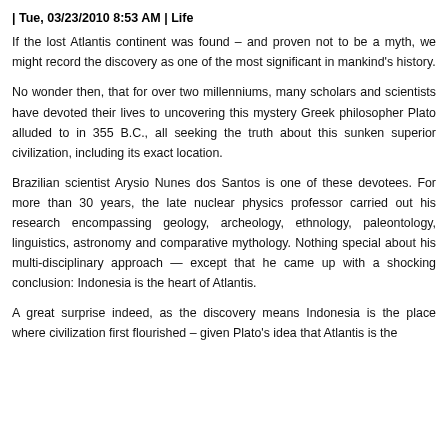| Tue, 03/23/2010 8:53 AM | Life
If the lost Atlantis continent was found – and proven not to be a myth, we might record the discovery as one of the most significant in mankind's history.
No wonder then, that for over two millenniums, many scholars and scientists have devoted their lives to uncovering this mystery Greek philosopher Plato alluded to in 355 B.C., all seeking the truth about this sunken superior civilization, including its exact location.
Brazilian scientist Arysio Nunes dos Santos is one of these devotees. For more than 30 years, the late nuclear physics professor carried out his research encompassing geology, archeology, ethnology, paleontology, linguistics, astronomy and comparative mythology. Nothing special about his multi-disciplinary approach — except that he came up with a shocking conclusion: Indonesia is the heart of Atlantis.
A great surprise indeed, as the discovery means Indonesia is the place where civilization first flourished – given Plato's idea that Atlantis is the